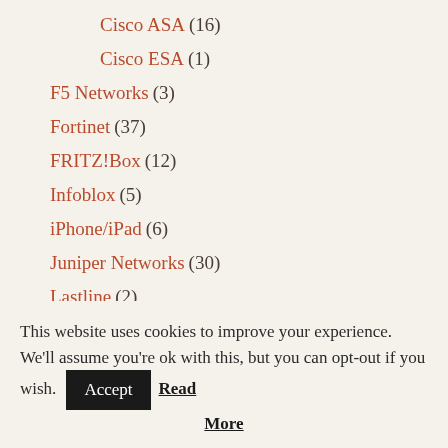Cisco ASA (16)
Cisco ESA (1)
F5 Networks (3)
Fortinet (37)
FRITZ!Box (12)
Infoblox (5)
iPhone/iPad (6)
Juniper Networks (30)
Lastline (2)
Linux (27)
Meinberg (4)
This website uses cookies to improve your experience. We'll assume you're ok with this, but you can opt-out if you wish. Accept Read More